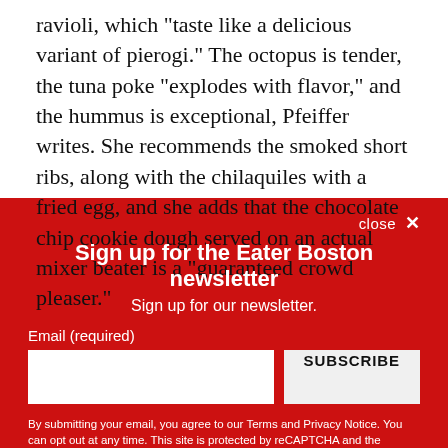ravioli, which "taste like a delicious variant of pierogi." The octopus is tender, the tuna poke "explodes with flavor," and the hummus is exceptional, Pfeiffer writes. She recommends the smoked short ribs, along with the chilaquiles with a fried egg, and she adds that the chocolate chip cookie dough served on an actual mixer beater is a "guaranteed crowd pleaser."
Sign up for the Eater Boston newsletter
Sign up for our newsletter.
Email (required)
SUBSCRIBE
By submitting your email, you agree to our Terms and Privacy Notice. You can opt out at any time. This site is protected by reCAPTCHA and the Google Privacy Policy and Terms of Service apply.